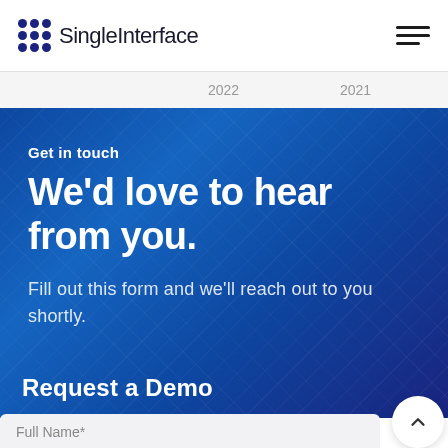SingleInterface
2022    2021
[Figure (photo): Blue-tinted background with building/architectural glass facade lines, used as hero section background]
Get in touch
We'd love to hear from you.
Fill out this form and we'll reach out to you shortly.
Request a Demo
Full Name*